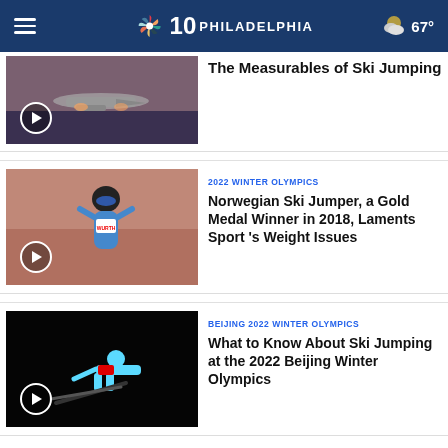NBC 10 Philadelphia | 67°
The Measurables of Ski Jumping
[Figure (photo): Airplane on runway at dusk with play button overlay]
[Figure (photo): Norwegian ski jumper in blue suit with WURTH bib, smiling, with play button overlay]
2022 WINTER OLYMPICS
Norwegian Ski Jumper, a Gold Medal Winner in 2018, Laments Sport 's Weight Issues
[Figure (photo): Ski jumper in light blue suit mid-jump against black sky, with play button overlay]
BEIJING 2022 WINTER OLYMPICS
What to Know About Ski Jumping at the 2022 Beijing Winter Olympics